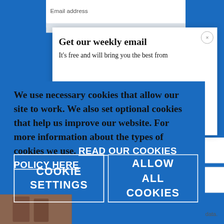Email address
Get our weekly email
It's free and will bring you the best from
We use necessary cookies that allow our site to work. We also set optional cookies that help us improve our website. For more information about the types of cookies we use. READ OUR COOKIES POLICY HERE
COOKIE SETTINGS
ALLOW ALL COOKIES
data.